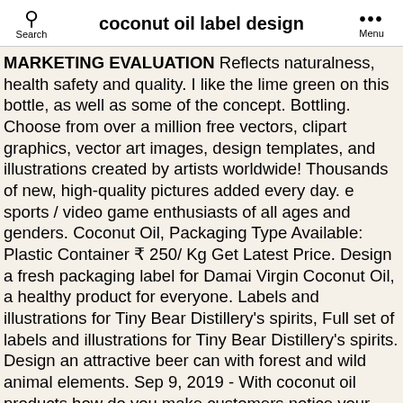coconut oil label design | Search | Menu
MARKETING EVALUATION Reflects naturalness, health safety and quality. I like the lime green on this bottle, as well as some of the concept. Bottling. Choose from over a million free vectors, clipart graphics, vector art images, design templates, and illustrations created by artists worldwide! Thousands of new, high-quality pictures added every day. e sports / video game enthusiasts of all ages and genders. Coconut Oil, Packaging Type Available: Plastic Container ₹ 250/ Kg Get Latest Price. Design a fresh packaging label for Damai Virgin Coconut Oil, a healthy product for everyone. Labels and illustrations for Tiny Bear Distillery's spirits, Full set of labels and illustrations for Tiny Bear Distillery's spirits. Design an attractive beer can with forest and wild animal elements. Sep 9, 2019 - With coconut oil products how do you make customers notice your product over all others on the shelf? Saved by Johnny Chen. ... are with a BPA-Non Intent design, which is of the highest quality available and free from BPA. Purity: 100 %. Brand: VedaOil or OEM or